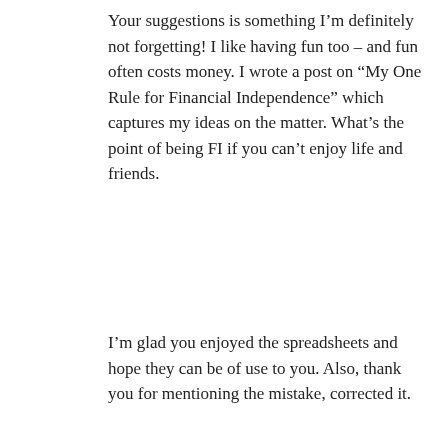Your suggestions is something I’m definitely not forgetting! I like having fun too – and fun often costs money. I wrote a post on “My One Rule for Financial Independence” which captures my ideas on the matter. What’s the point of being FI if you can’t enjoy life and friends.
I’m glad you enjoyed the spreadsheets and hope they can be of use to you. Also, thank you for mentioning the mistake, corrected it.
Best wishes,
NMW
→ Reply
DividendDreamer
OCTOBER 25, 2014 AT 10:55